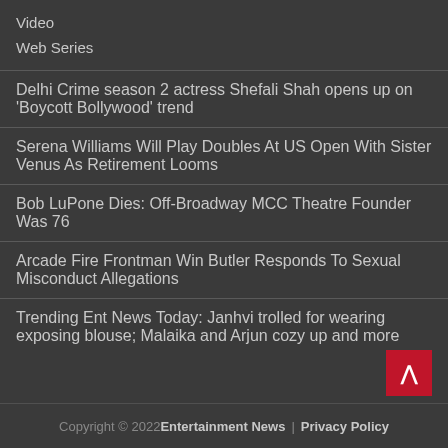Video
Web Series
Delhi Crime season 2 actress Shefali Shah opens up on 'Boycott Bollywood' trend
Serena Williams Will Play Doubles At US Open With Sister Venus As Retirement Looms
Bob LuPone Dies: Off-Broadway MCC Theatre Founder Was 76
Arcade Fire Frontman Win Butler Responds To Sexual Misconduct Allegations
Trending Ent News Today: Janhvi trolled for wearing exposing blouse; Malaika and Arjun cozy up and more
Copyright © 2022 Entertainment News  |  Privacy Policy